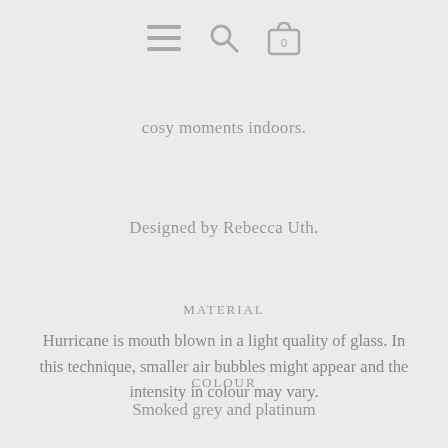[Figure (other): Navigation bar with hamburger menu icon, search icon, and shopping bag icon with 0 badge]
cosy moments indoors.
Designed by Rebecca Uth.
MATERIAL
Hurricane is mouth blown in a light quality of glass. In this technique, smaller air bubbles might appear and the intensity in colour may vary.
COLOUR
Smoked grey and platinum